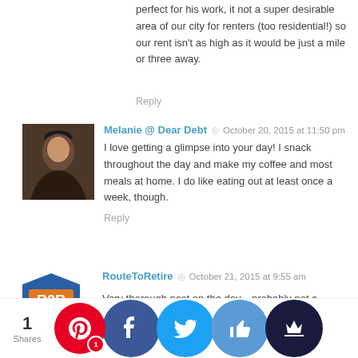perfect for his work, it not a super desirable area of our city for renters (too residential!) so our rent isn't as high as it would be just a mile or three away.
Reply
Melanie @ Dear Debt  ◎  October 20, 2015 at 11:50 pm
I love getting a glimpse into your day! I snack throughout the day and make my coffee and most meals at home. I do like eating out at least once a week, though.
Reply
RouteToRetire  ◎  October 21, 2015 at 9:55 am
Very thorough post on the day... probably not a favorite one to write, but an excellent one to read!! Sounds like Mr. and Mrs. Frugalwoods live a pretty similar lifestyle to that of most other frugal peeps! 😉
One thing that is a plus and a minus is that my job is actually about a mile from my parents' house. So I spend almost every lunch hour at their house. That also meant "mooching" off their fo[od] which is al[so] [so]me gre[at] [le]ftovers fr[om the] night b[efo]re. [O]ne plus [is] free fo[od but o]ne min[us is th]at they